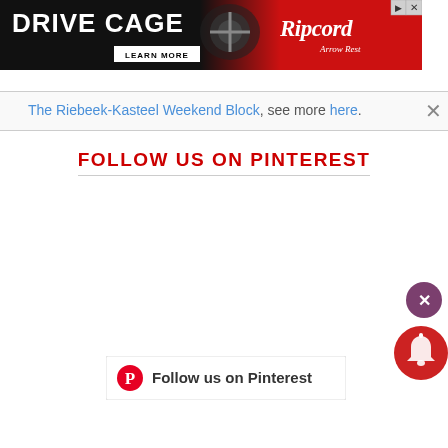[Figure (screenshot): Drive Cage arrow rest advertisement banner with black and red background, product image of arrow rest mechanism, and Ripcord Arrow Rest logo]
The Riebeek-Kasteel Weekend Block, see more here.
FOLLOW US ON PINTEREST
[Figure (screenshot): Pinterest Follow us on Pinterest widget button with Pinterest logo]
[Figure (screenshot): Close button (X) - round purple button]
[Figure (screenshot): Bell notification button - round red button with bell icon]